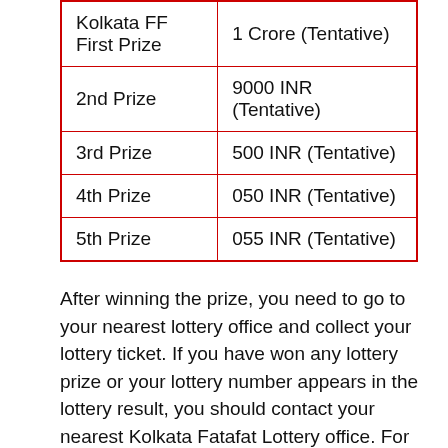| Prize | Amount |
| --- | --- |
| Kolkata FF First Prize | 1 Crore (Tentative) |
| 2nd Prize | 9000 INR
(Tentative) |
| 3rd Prize | 500 INR (Tentative) |
| 4th Prize | 050 INR (Tentative) |
| 5th Prize | 055 INR (Tentative) |
After winning the prize, you need to go to your nearest lottery office and collect your lottery ticket. If you have won any lottery prize or your lottery number appears in the lottery result, you should contact your nearest Kolkata Fatafat Lottery office. For more information you have to subscribe [redacted] your questions in the comment box given below.